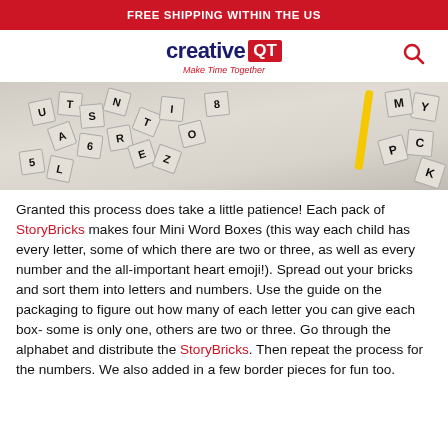FREE SHIPPING WITHIN THE US
[Figure (logo): Creative QT logo — 'creative' in dark blue bold text, 'QT' in white on red box, tagline 'Make Time Together' in red italic below]
[Figure (photo): Photo of scattered white letter and number tiles on a white surface, with a yellow plastic piece visible on the right side]
Granted this process does take a little patience! Each pack of StoryBricks makes four Mini Word Boxes (this way each child has every letter, some of which there are two or three, as well as every number and the all-important heart emoji!). Spread out your bricks and sort them into letters and numbers. Use the guide on the packaging to figure out how many of each letter you can give each box- some is only one, others are two or three. Go through the alphabet and distribute the StoryBricks. Then repeat the process for the numbers. We also added in a few border pieces for fun too.